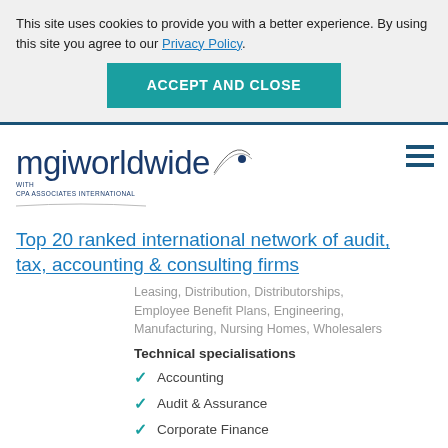This site uses cookies to provide you with a better experience. By using this site you agree to our Privacy Policy.
ACCEPT AND CLOSE
[Figure (logo): MGI Worldwide with CPA Associates International logo — blue text with arc and dot graphic]
Top 20 ranked international network of audit, tax, accounting & consulting firms
Leasing, Distribution, Distributorships, Employee Benefit Plans, Engineering, Manufacturing, Nursing Homes, Wholesalers
Technical specialisations
Accounting
Audit & Assurance
Corporate Finance
Mergers & Acquisition